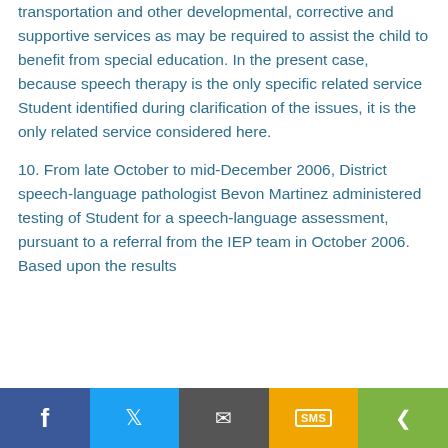transportation and other developmental, corrective and supportive services as may be required to assist the child to benefit from special education. In the present case, because speech therapy is the only specific related service Student identified during clarification of the issues, it is the only related service considered here.
10. From late October to mid-December 2006, District speech-language pathologist Bevon Martinez administered testing of Student for a speech-language assessment, pursuant to a referral from the IEP team in October 2006. Based upon the results